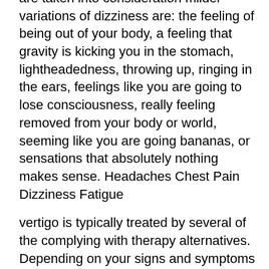are taken into consideration milder variations of dizziness are: the feeling of being out of your body, a feeling that gravity is kicking you in the stomach, lightheadedness, throwing up, ringing in the ears, feelings like you are going to lose consciousness, really feeling removed from your body or world, seeming like you are going bananas, or sensations that absolutely nothing makes sense. Headaches Chest Pain Dizziness Fatigue
vertigo is typically treated by several of the complying with therapy alternatives. Depending on your signs and symptoms as well as the severity of your situation, therapy might range from straightforward to complex and needs the attention of a medical